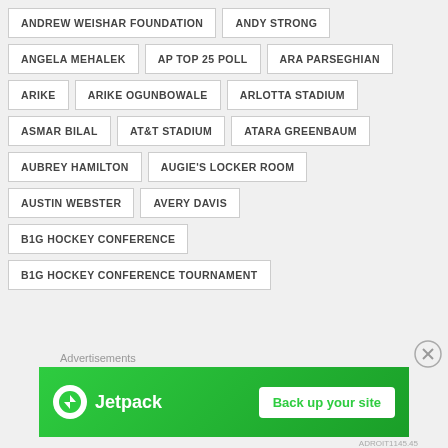ANDREW WEISHAR FOUNDATION
ANDY STRONG
ANGELA MEHALEK
AP TOP 25 POLL
ARA PARSEGHIAN
ARIKE
ARIKE OGUNBOWALE
ARLOTTA STADIUM
ASMAR BILAL
AT&T STADIUM
ATARA GREENBAUM
AUBREY HAMILTON
AUGIE'S LOCKER ROOM
AUSTIN WEBSTER
AVERY DAVIS
B1G HOCKEY CONFERENCE
B1G HOCKEY CONFERENCE TOURNAMENT
Advertisements
[Figure (infographic): Jetpack advertisement banner: green background with Jetpack logo on left and 'Back up your site' button on right]